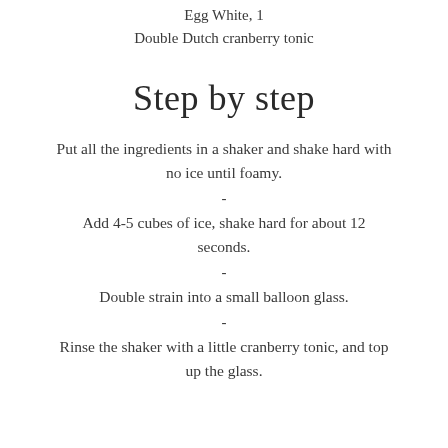Egg White, 1
Double Dutch cranberry tonic
Step by step
Put all the ingredients in a shaker and shake hard with no ice until foamy.
-
Add 4-5 cubes of ice, shake hard for about 12 seconds.
-
Double strain into a small balloon glass.
-
Rinse the shaker with a little cranberry tonic, and top up the glass.